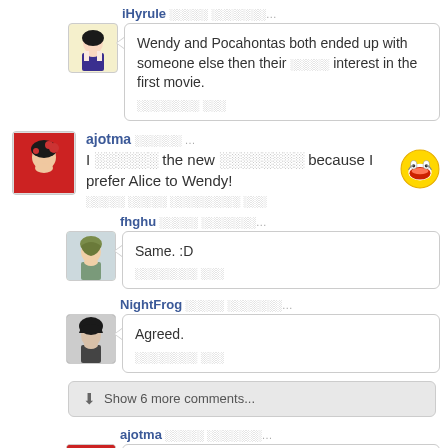iHyrule ░░░░░ ░░░░░░░…
Wendy and Pocahontas both ended up with someone else then their ░░░░░ interest in the first movie.
░░░░░░░░ ░░░
ajotma ░░░░░░ …
I ░░░░░░ the new ░░░░░░░░ because I prefer Alice to Wendy!
░░░░░ ░░░░░ ░░░░░░░░░ ░░░
fhghu ░░░░░ ░░░░░░░…
Same. :D
░░░░░░░░ ░░░
NightFrog ░░░░░ ░░░░░░░…
Agreed.
░░░░░░░░ ░░░
Show 6 more comments...
ajotma ░░░░░ ░░░░░░░…
Understandable!
░░░░░░░░ ░░░